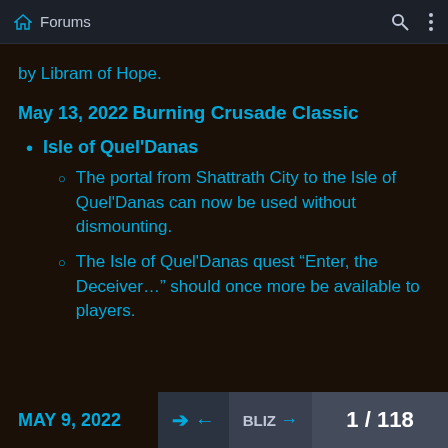Forums
by Libram of Hope.
May 13, 2022
Burning Crusade Classic
Isle of Quel'Danas
The portal from Shattrath City to the Isle of Quel'Danas can now be used without dismounting.
The Isle of Quel'Danas quest “Enter, the Deceiver…” should once more be available to players.
MAY 9, 2022
Burning Crusade
1 / 118